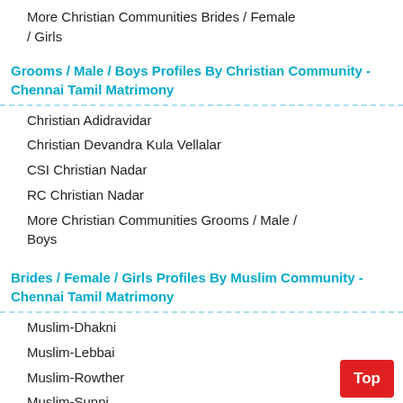More Christian Communities Brides / Female / Girls
Grooms / Male / Boys Profiles By Christian Community - Chennai Tamil Matrimony
Christian Adidravidar
Christian Devandra Kula Vellalar
CSI Christian Nadar
RC Christian Nadar
More Christian Communities Grooms / Male / Boys
Brides / Female / Girls Profiles By Muslim Community - Chennai Tamil Matrimony
Muslim-Dhakni
Muslim-Lebbai
Muslim-Rowther
Muslim-Sunni
Muslim-Tamil
Muslim-Urudu
More Muslim Communities Brides / Female / Girls